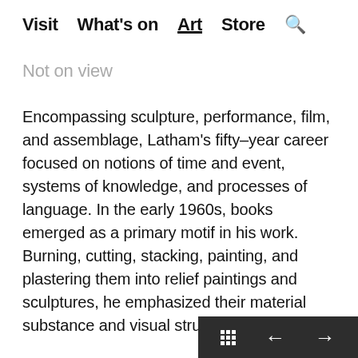Visit   What's on   Art   Store   🔍
Not on view
Encompassing sculpture, performance, film, and assemblage, Latham's fifty–year career focused on notions of time and event, systems of knowledge, and processes of language. In the early 1960s, books emerged as a primary motif in his work. Burning, cutting, stacking, painting, and plastering them into relief paintings and sculptures, he emphasized their material substance and visual structure.
For the performance Skoob Tower Ceremony, National Foundation (1966), he ll...